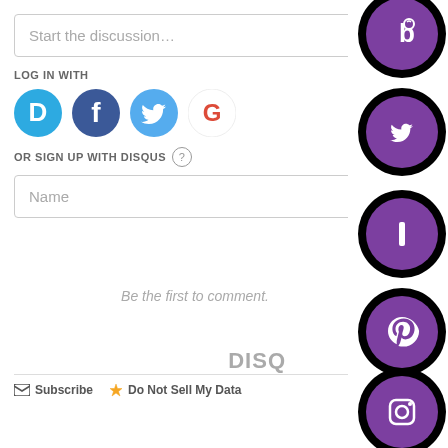Start the discussion…
LOG IN WITH
[Figure (logo): Social login icons: Disqus (D), Facebook (f), Twitter bird, Google (G)]
OR SIGN UP WITH DISQUS ?
Name
Be the first to comment.
Subscribe   Do Not Sell My Data   DISQUS
[Figure (logo): Right-side vertical social media icons: Bloglovin (b with heart), Twitter (bird), Instagram/I, Pinterest (P), Instagram camera, Power/GetPocket blue icon]